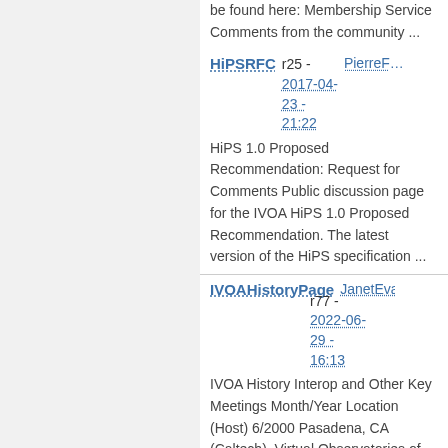be found here: Membership Service Comments from the community ...
HiPSRFC r25 - 2017-04-23 - 21:22 PierreFern...
HiPS 1.0 Proposed Recommendation: Request for Comments Public discussion page for the IVOA HiPS 1.0 Proposed Recommendation. The latest version of the HiPS specification ...
IVOAHistoryPage JanetEvan... r77 - 2022-06-29 - 16:13
IVOA History Interop and Other Key Meetings Month/Year Location (Host) 6/2000 Pasadena, CA (Caltech), Virtual Observatories of the Future 8/2000...